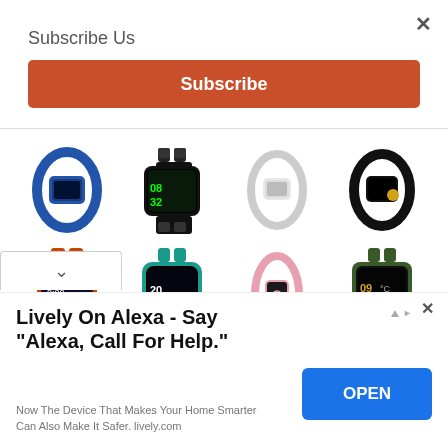×
Subscribe Us
Subscribe
[Figure (photo): Grid of 8 smartwatches/fitness bands: row 1: blue fitness band, black square smartwatch, white fitness band, black fitness band; row 2: navy/orange square smartwatch, teal square smartwatch, pink fitness band, green square smartwatch]
∨
Lively On Alexa - Say "Alexa, Call For Help."
Now The Device That Makes Your Home Smarter Can Also Make It Safer. lively.com
OPEN